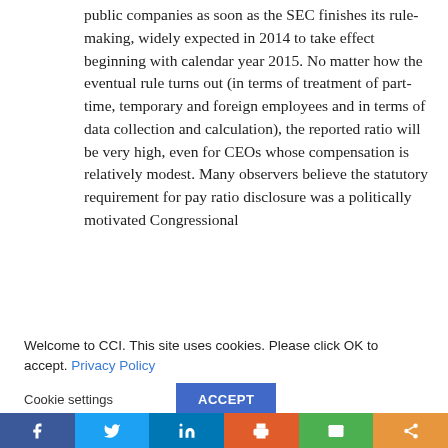public companies as soon as the SEC finishes its rule-making, widely expected in 2014 to take effect beginning with calendar year 2015. No matter how the eventual rule turns out (in terms of treatment of part-time, temporary and foreign employees and in terms of data collection and calculation), the reported ratio will be very high, even for CEOs whose compensation is relatively modest. Many observers believe the statutory requirement for pay ratio disclosure was a politically motivated Congressional
Welcome to CCI. This site uses cookies. Please click OK to accept. Privacy Policy
Cookie settings   ACCEPT
[Figure (infographic): Social sharing bar with Facebook, Twitter, LinkedIn, Print, Email, and Share buttons]